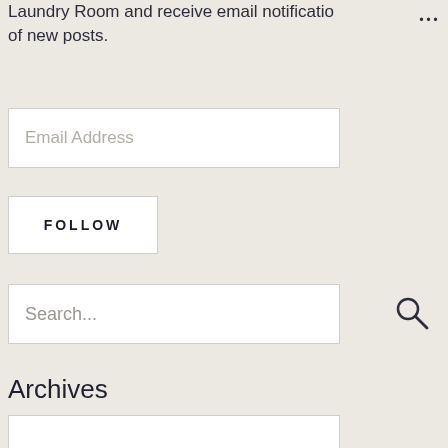Laundry Room and receive email notifications of new posts.
[Figure (screenshot): Email Address input field (white rectangle with placeholder text)]
[Figure (screenshot): FOLLOW button (white rectangle with bold spaced uppercase text)]
[Figure (screenshot): Search input field with placeholder text and search icon]
Archives
[Figure (screenshot): Archives dropdown or input box (partially visible white rectangle)]